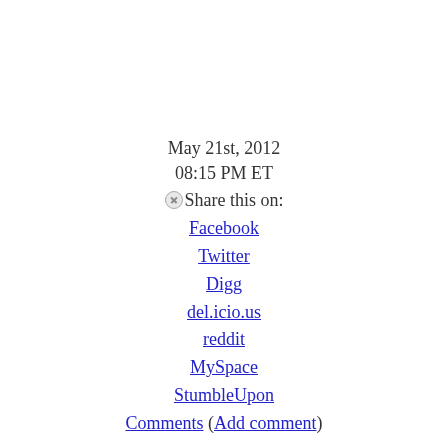May 21st, 2012
08:15 PM ET
Share this on:
Facebook
Twitter
Digg
del.icio.us
reddit
MySpace
StumbleUpon
Comments (Add comment)